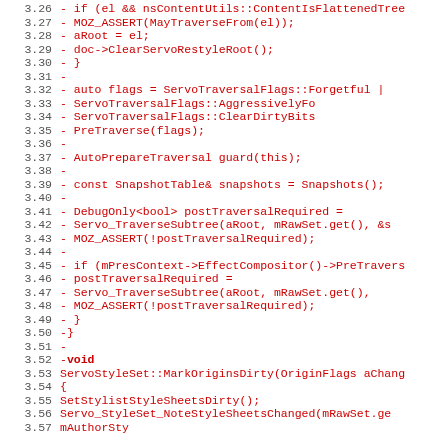Code diff showing removed lines 3.26-3.57 of a C++ source file (ServoStyleSet), with line numbers in grey and diff content in red. Lines show removal of traversal logic including conditional checks, flag setting, traversal calls, and start of MarkOriginsDirty function.